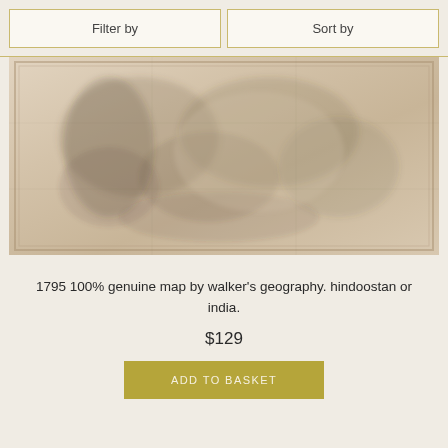Filter by
Sort by
[Figure (map): Blurry antique/historical map image, sepia-toned, appears to be an old engraved map of Hindoostan or India, circa 1795]
1795 100% genuine map by walker's geography. hindoostan or india.
$129
ADD TO BASKET